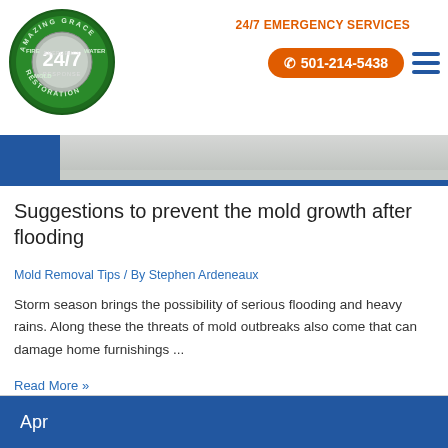[Figure (logo): Amazing Grace Fire Water Mold Restoration circular logo with 24/7 Emergency Response badge]
24/7 EMERGENCY SERVICES
501-214-5438
[Figure (photo): Flooded floor area with blue banner background]
Suggestions to prevent the mold growth after flooding
Mold Removal Tips / By Stephen Ardeneaux
Storm season brings the possibility of serious flooding and heavy rains. Along these the threats of mold outbreaks also come that can damage home furnishings ...
Read More »
Apr